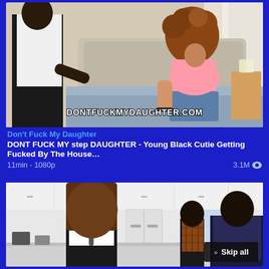[Figure (photo): Video thumbnail showing two people in a bedroom setting with text watermark DONTFUCKMYDAUGHTER.COM]
Don't Fuck My Daughter
DONT FUCK MY step DAUGHTER - Young Black Cutie Getting Fucked By The House…
11min - 1080p    3.1M 👁
[Figure (photo): Video thumbnail showing people in a kitchen setting with a Skip all button overlay]